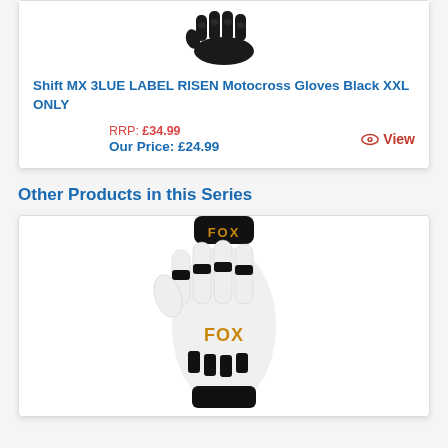[Figure (photo): Black motocross gloves (Shift MX) seen from above, fingers pointing down, on white background]
Shift MX 3LUE LABEL RISEN Motocross Gloves Black XXL ONLY
RRP: £34.99
Our Price: £24.99
View
Other Products in this Series
[Figure (photo): White and black Fox motocross gloves with gold FOX branding on back of hand, fingers pointing down]